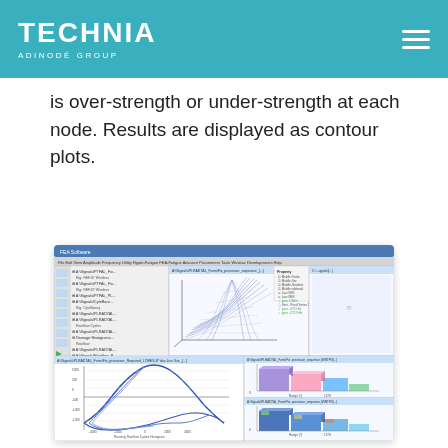TECHNIA ADINODÉ GROUP
is over-strength or under-strength at each node. Results are displayed as contour plots.
[Figure (screenshot): Screenshot of a FEA/simulation software interface showing multiple panels: a tree/model browser on the left, a 3D surface/contour plot (bell-shaped mesh) in the upper center, hysteresis loop curves in the lower left panel, and two 3D bar/surface plots on the right side panels.]